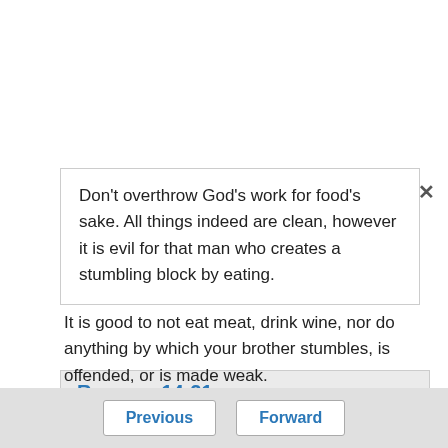Don't overthrow God's work for food's sake. All things indeed are clean, however it is evil for that man who creates a stumbling block by eating.
Romans 14:21
It is good to not eat meat, drink wine, nor do anything by which your brother stumbles, is offended, or is made weak.
Romans 14:24
Previous  Forward